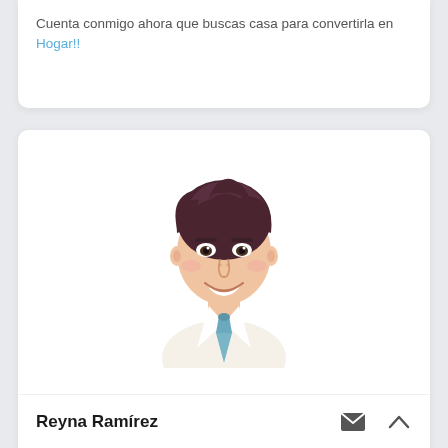Cuenta conmigo ahora que buscas casa para convertirla en Hogar!!
[Figure (illustration): Cartoon illustration of a smiling young man with dark brown hair, wearing a light-colored shirt and blue tie, shown from the shoulders up.]
Reyna Ramírez